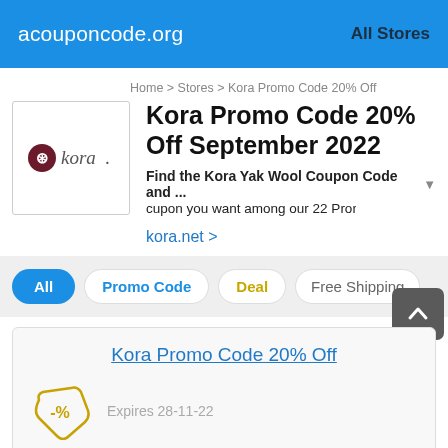acouponcode.org  All Stores
Home > Stores > Kora Promo Code 20% Off
Kora Promo Code 20% Off September 2022
Find the Kora Yak Wool Coupon Code and ... cupon you want among our 22 Promotion C
kora.net >
All
Promo Code
Deal
Free Shipping
Kora Promo Code 20% Off
Expires 28-11-22